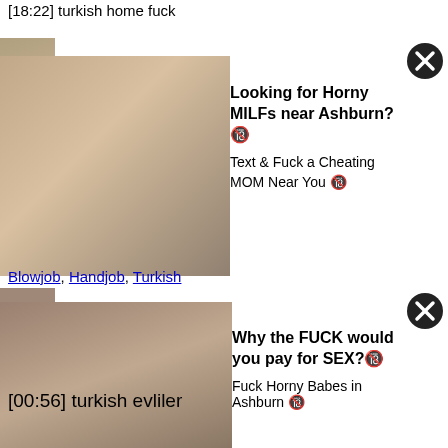[18:22] turkish home fuck
[Figure (photo): Thumbnail image for video]
[Figure (photo): Advertisement with woman photo - Looking for Horny MILFs near Ashburn?]
Looking for Horny MILFs near Ashburn? Text & Fuck a Cheating MOM Near You
Blowjob, Handjob, Turkish
[Figure (photo): Advertisement with woman photo - Why the FUCK would you pay for SEX?]
Why the FUCK would you pay for SEX? Fuck Horny Babes in Ashburn
[00:56] turkish evliler
Amateur, Masturbating, Mature
Turkish FUNDA GURKAN
[07:28] Turkish FUNDA GURKAN
Amateur, Celebrities, Turkish
Turkish Homevideo
[06:16] Turkish Homevideo